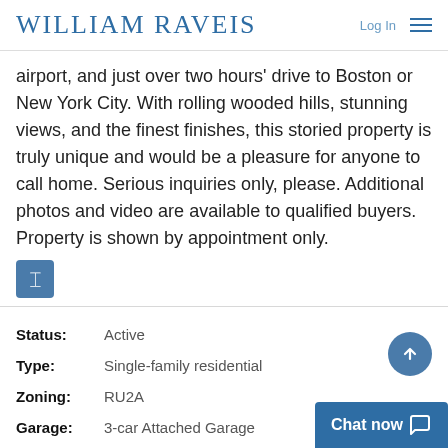WILLIAM RAVEIS | Log In
airport, and just over two hours' drive to Boston or New York City. With rolling wooded hills, stunning views, and the finest finishes, this storied property is truly unique and would be a pleasure for anyone to call home. Serious inquiries only, please. Additional photos and video are available to qualified buyers. Property is shown by appointment only.
Status: Active
Type: Single-family residential
Zoning: RU2A
Garage: 3-car Attached Garage
Heating: Hydro A